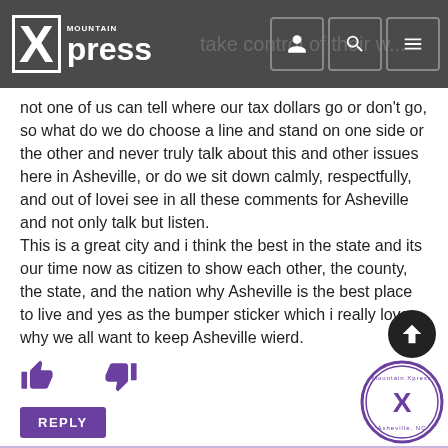Mountain Xpress
not one of us can tell where our tax dollars go or don't go, so what do we do choose a line and stand on one side or the other and never truly talk about this and other issues here in Asheville, or do we sit down calmly, respectfully, and out of lovei see in all these comments for Asheville and not only talk but listen.
This is a great city and i think the best in the state and its our time now as citizen to show each other, the county, the state, and the nation why Asheville is the best place to live and yes as the bumper sticker which i really love why we all want to keep Asheville wierd.
Michael Muller